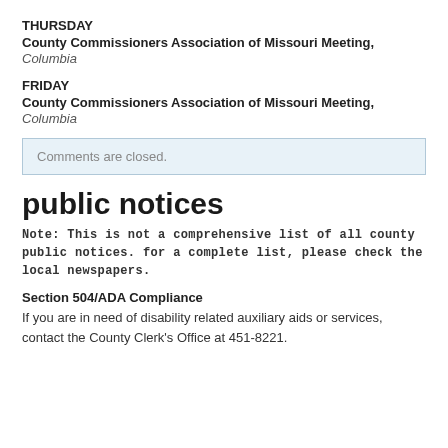THURSDAY
County Commissioners Association of Missouri Meeting,
Columbia
FRIDAY
County Commissioners Association of Missouri Meeting,
Columbia
Comments are closed.
public notices
Note: This is not a comprehensive list of all county public notices. for a complete list, please check the local newspapers.
Section 504/ADA Compliance
If you are in need of disability related auxiliary aids or services, contact the County Clerk's Office at 451-8221.